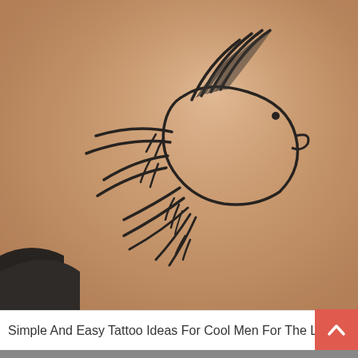[Figure (photo): Close-up photograph of a skin area (shoulder/collarbone) with a black outline tattoo of a dove/bird in flight, with wing feather details rendered as curved line strokes.]
Simple And Easy Tattoo Ideas For Cool Men For The Large
[Figure (photo): Partially visible photograph at the bottom edge of the page, content unclear.]